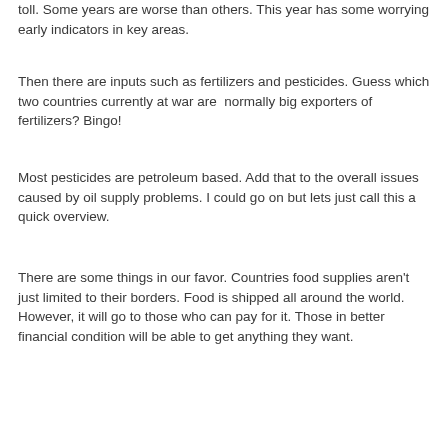toll. Some years are worse than others. This year has some worrying early indicators in key areas.
Then there are inputs such as fertilizers and pesticides. Guess which two countries currently at war are normally big exporters of fertilizers? Bingo!
Most pesticides are petroleum based. Add that to the overall issues caused by oil supply problems. I could go on but lets just call this a quick overview.
There are some things in our favor. Countries food supplies aren't just limited to their borders. Food is shipped all around the world. However, it will go to those who can pay for it. Those in better financial condition will be able to get anything they want.